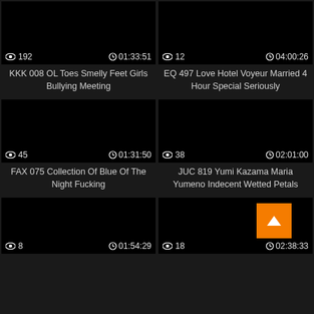[Figure (screenshot): Black video thumbnail with views: 192 and duration: 01:33:51]
KKK 008 OL Toes Smelly Feet Girls Bullying Meeting
[Figure (screenshot): Black video thumbnail with views: 12 and duration: 04:00:26]
EQ 497 Love Hotel Voyeur Married 4 Hour Special Seriously
[Figure (screenshot): Black video thumbnail with views: 45 and duration: 01:31:50]
FAX 075 Collection Of Blue Of The Night Fucking
[Figure (screenshot): Black video thumbnail with views: 38 and duration: 02:01:00]
JUC 819 Yumi Kazama Maria Yumeno Indecent Wetted Petals
[Figure (screenshot): Black video thumbnail with views: 8 and duration: 01:54:29]
[Figure (screenshot): Black video thumbnail with orange back-to-top button, views: 18 and duration: 02:38:33]